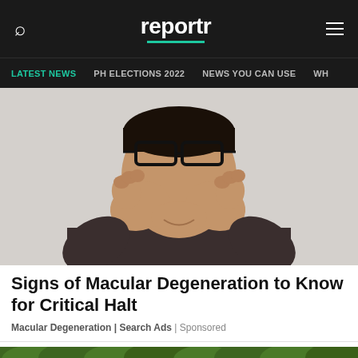reportr
LATEST NEWS | PH ELECTIONS 2022 | NEWS YOU CAN USE | WH
[Figure (photo): Man in dark shirt rubbing his eyes with both fists, wearing glasses pushed up on his forehead, against a grey background]
Signs of Macular Degeneration to Know for Critical Halt
Macular Degeneration | Search Ads | Sponsored
[Figure (photo): Aerial view of a parking lot and green hedges, partial view at bottom of page]